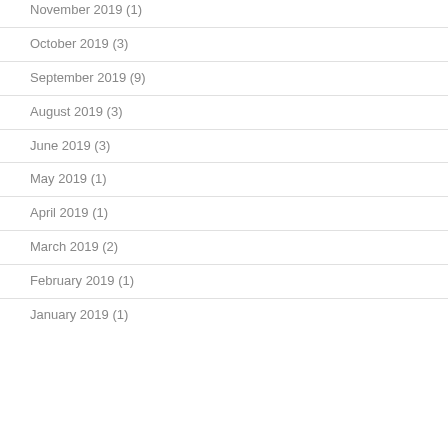November 2019 (1)
October 2019 (3)
September 2019 (9)
August 2019 (3)
June 2019 (3)
May 2019 (1)
April 2019 (1)
March 2019 (2)
February 2019 (1)
January 2019 (1)